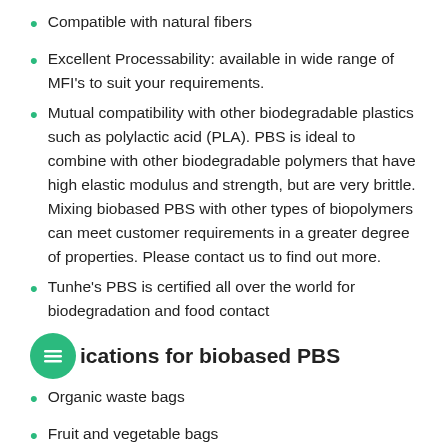Compatible with natural fibers
Excellent Processability: available in wide range of MFI's to suit your requirements.
Mutual compatibility with other biodegradable plastics such as polylactic acid (PLA). PBS is ideal to combine with other biodegradable polymers that have high elastic modulus and strength, but are very brittle. Mixing biobased PBS with other types of biopolymers can meet customer requirements in a greater degree of properties. Please contact us to find out more.
Tunhe's PBS is certified all over the world for biodegradation and food contact
ications for biobased PBS
Organic waste bags
Fruit and vegetable bags